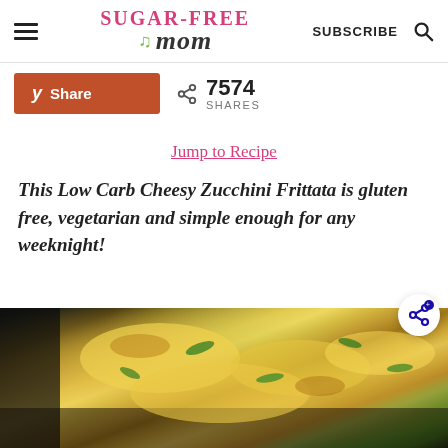Sugar-Free Mom | SUBSCRIBE
Share  7574 SHARES
Jump to Recipe
This Low Carb Cheesy Zucchini Frittata is gluten free, vegetarian and simple enough for any weeknight!
[Figure (photo): A cheesy zucchini frittata in a dark skillet, showing melted cheese and green herbs on top, photographed from above at an angle.]